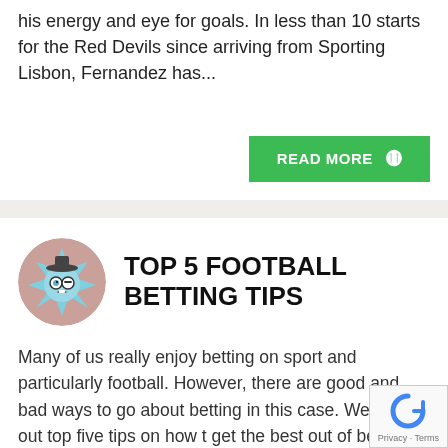Fernandez has won the hearts of fans with his energy and eye for goals. In less than 10 starts for the Red Devils since arriving from Sporting Lisbon, Fernandez has...
READ MORE ⊙
TOP 5 FOOTBALL BETTING TIPS
Many of us really enjoy betting on sport and particularly football. However, there are good and bad ways to go about betting in this case. We have out top five tips on how to get the best out of betting on football.